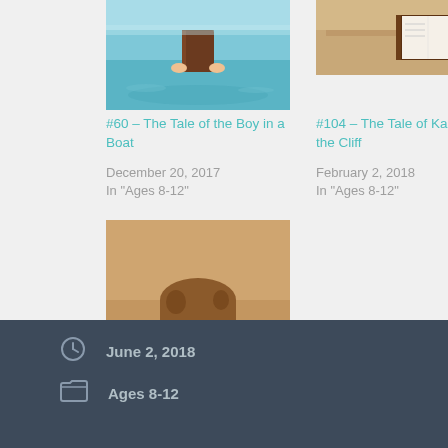[Figure (illustration): Book cover or thumbnail image for tale of the boy in a boat - blue water scene with book]
#60 – The Tale of the Boy in a Boat
December 20, 2017
In "Ages 8-12"
[Figure (illustration): Thumbnail image for tale of Kane and the Cliff - brown desk/book scene]
#104 – The Tale of Kane and the Cliff
February 2, 2018
In "Ages 8-12"
[Figure (illustration): Thumbnail image for tale of the curious scarecrow - child peeking over book]
#11 – The Tale of the Curious Scarecrow
November 1, 2017
In "Ages 4-8"
June 2, 2018
Ages 8-12